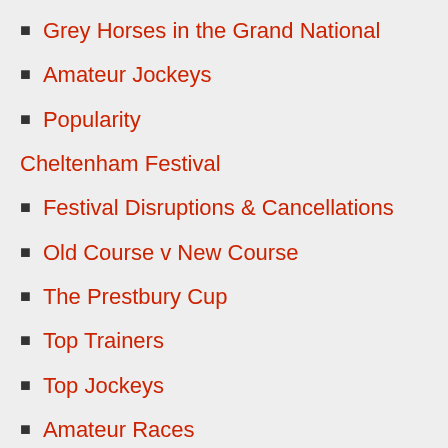Grey Horses in the Grand National
Amateur Jockeys
Popularity
Cheltenham Festival
Festival Disruptions & Cancellations
Old Course v New Course
The Prestbury Cup
Top Trainers
Top Jockeys
Amateur Races
Premier League